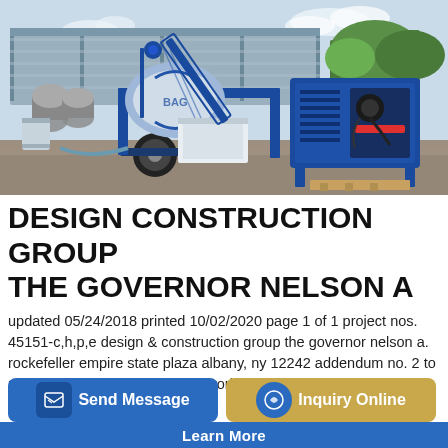[Figure (photo): Outdoor photo of a mobile concrete mixer / batching plant machine. Blue and white heavy equipment on wheels with a mixing drum, conveyor belt arm, hopper, and a blue power unit/generator on the right side. Parked on gravel at a construction site with trees and a warehouse roof visible in the background.]
DESIGN CONSTRUCTION GROUP THE GOVERNOR NELSON A
updated 05/24/2018 printed 10/02/2020 page 1 of 1 project nos. 45151-c,h,p,e design & construction group the governor nelson a. rockefeller empire state plaza albany, ny 12242 addendum no. 2 to project no. 45151 construction work, hvac work, plumbing work, and electrical work provide